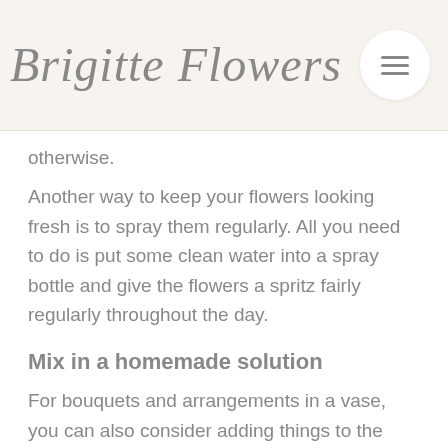Brigitte Flowers
otherwise.
Another way to keep your flowers looking fresh is to spray them regularly. All you need to do is put some clean water into a spray bottle and give the flowers a spritz fairly regularly throughout the day.
Mix in a homemade solution
For bouquets and arrangements in a vase, you can also consider adding things to the water to try